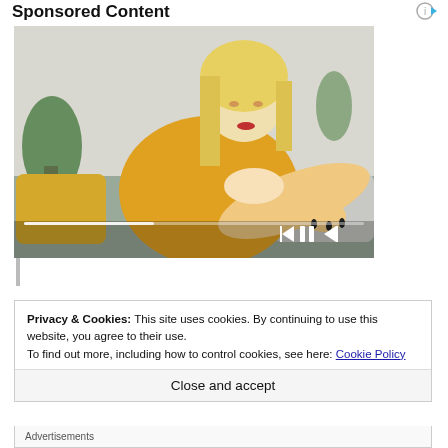Sponsored Content
[Figure (photo): A blonde woman in a yellow knit sweater sitting on a couch, looking at her arm/elbow with concern. Video player controls (rewind, pause, forward) are overlaid at the bottom right of the image along with a progress bar.]
Privacy & Cookies: This site uses cookies. By continuing to use this website, you agree to their use.
To find out more, including how to control cookies, see here: Cookie Policy
Close and accept
Advertisements